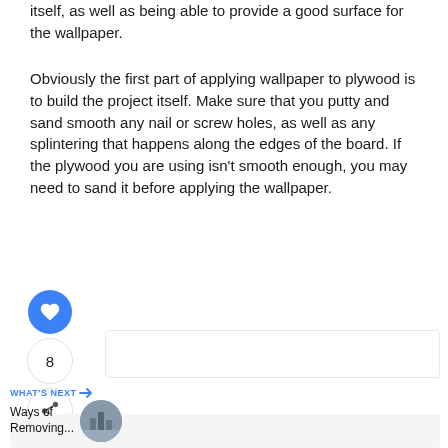itself, as well as being able to provide a good surface for the wallpaper.
Obviously the first part of applying wallpaper to plywood is to build the project itself. Make sure that you putty and sand smooth any nail or screw holes, as well as any splintering that happens along the edges of the board. If the plywood you are using isn't smooth enough, you may need to sand it before applying the wallpaper.
8
WHAT'S NEXT → Ways of Removing...